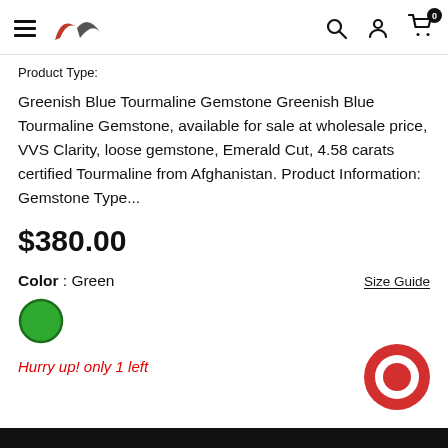Navigation bar with hamburger menu, logo, search, account, and cart (0) icons
Product Type:
Greenish Blue Tourmaline Gemstone Greenish Blue Tourmaline Gemstone, available for sale at wholesale price, VVS Clarity, loose gemstone, Emerald Cut, 4.58 carats certified Tourmaline from Afghanistan. Product Information: Gemstone Type...
$380.00
Color : Green
[Figure (illustration): Green filled circle with dark green border indicating selected green color swatch]
Size Guide
Hurry up! only 1 left
[Figure (illustration): Red circular chat bubble icon in bottom right]